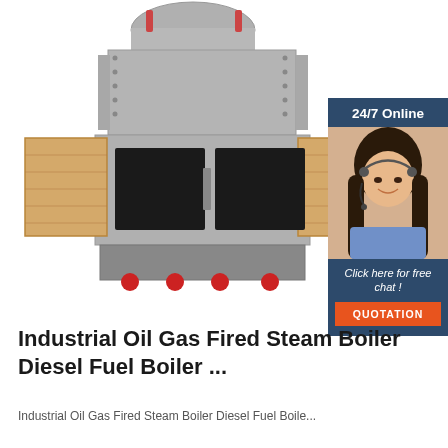[Figure (photo): Industrial coal/biomass steam boiler unit shown from front, gray metal casing with two open inspection/fuel doors revealing firebrick interior, top-mounted steam drum with pressure connectors, and small red-wheeled base components. Alongside is a 24/7 Online customer service widget showing a smiling woman with a headset, with 'Click here for free chat!' text and an orange QUOTATION button.]
Industrial Oil Gas Fired Steam Boiler Diesel Fuel Boiler ...
Industrial Oil Gas Fired Steam Boiler Diesel Fuel Boiler ...